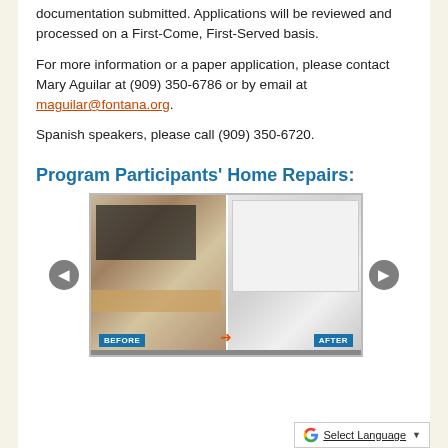documentation submitted. Applications will be reviewed and processed on a First-Come, First-Served basis.
For more information or a paper application, please contact Mary Aguilar at (909) 350-6786 or by email at maguilar@fontana.org.
Spanish speakers, please call (909) 350-6720.
Program Participants' Home Repairs:
[Figure (photo): Before and after kitchen renovation photos side by side showing kitchen cabinets and countertops]